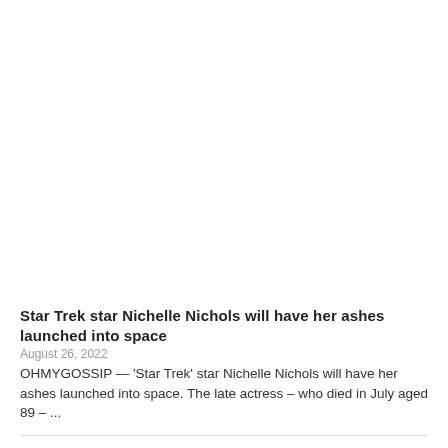Star Trek star Nichelle Nichols will have her ashes launched into space
August 26, 2022
OHMYGOSSIP — 'Star Trek' star Nichelle Nichols will have her ashes launched into space. The late actress – who died in July aged 89 – ...